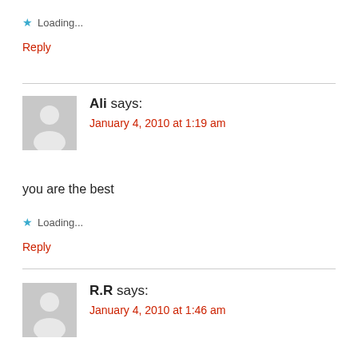★ Loading...
Reply
Ali says: January 4, 2010 at 1:19 am
you are the best
★ Loading...
Reply
R.R says: January 4, 2010 at 1:46 am